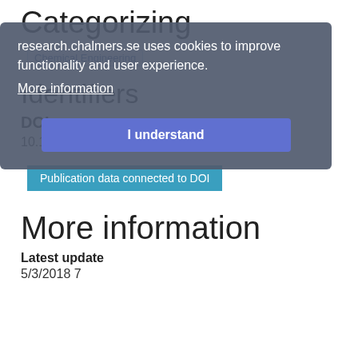Categorizing
research.chalmers.se uses cookies to improve functionality and user experience.
More information
I understand
Chemical Engineering
Identifiers
DOI
10.1080/07366299.2015.1115694
Publication data connected to DOI
More information
Latest update
5/3/2018 7